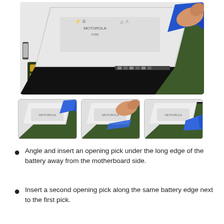[Figure (photo): Main large photo showing a blue opening pick/pry tool being inserted under the long edge of a smartphone battery by a person's fingers. The phone is open showing the motherboard and battery with Motorola branding.]
[Figure (photo): Thumbnail 1: Blue opening pick inserted under battery edge from above angle.]
[Figure (photo): Thumbnail 2: Fingers holding an opening pick under the battery edge.]
[Figure (photo): Thumbnail 3: Blue opening pick inserted along the battery edge, closer view.]
Angle and insert an opening pick under the long edge of the battery away from the motherboard side.
Insert a second opening pick along the same battery edge next to the first pick.